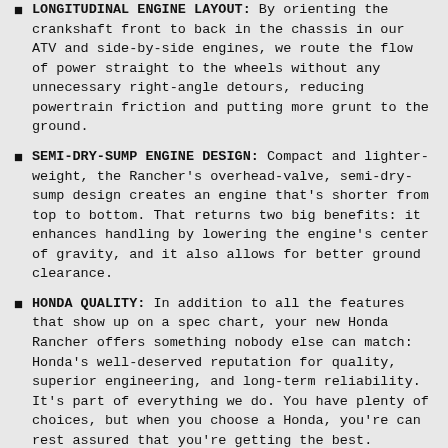LONGITUDINAL ENGINE LAYOUT: By orienting the crankshaft front to back in the chassis in our ATV and side-by-side engines, we route the flow of power straight to the wheels without any unnecessary right-angle detours, reducing powertrain friction and putting more grunt to the ground.
SEMI-DRY-SUMP ENGINE DESIGN: Compact and lighter-weight, the Rancher's overhead-valve, semi-dry-sump design creates an engine that's shorter from top to bottom. That returns two big benefits: it enhances handling by lowering the engine's center of gravity, and it also allows for better ground clearance.
HONDA QUALITY: In addition to all the features that show up on a spec chart, your new Honda Rancher offers something nobody else can match: Honda's well-deserved reputation for quality, superior engineering, and long-term reliability. It's part of everything we do. You have plenty of choices, but when you choose a Honda, you're can rest assured that you're getting the best.